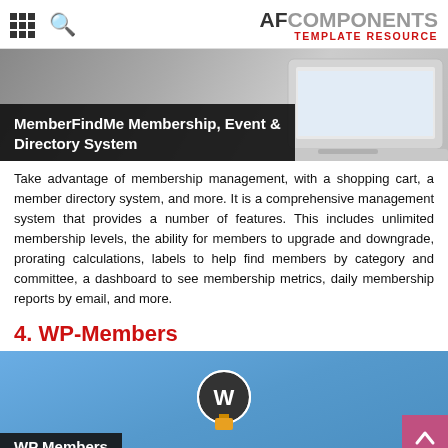AFCOMPONENTS TEMPLATE RESOURCE
[Figure (screenshot): Hero banner image showing MemberFindMe Membership, Event & Directory System with dark title bar overlay and laptop graphic]
Take advantage of membership management, with a shopping cart, a member directory system, and more. It is a comprehensive management system that provides a number of features. This includes unlimited membership levels, the ability for members to upgrade and downgrade, prorating calculations, labels to help find members by category and committee, a dashboard to see membership metrics, daily membership reports by email, and more.
4. WP-Members
[Figure (screenshot): WP-Members plugin screenshot showing blue background with WordPress logo/icon and 'WP Members' dark title bar at bottom]